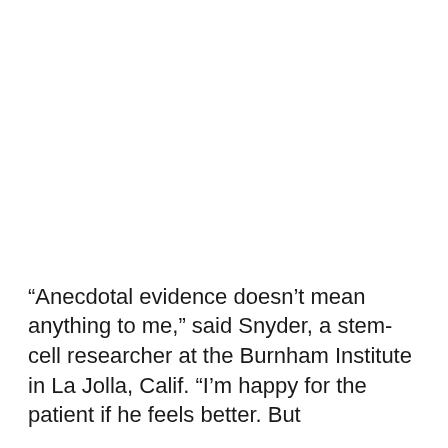“Anecdotal evidence doesn’t mean anything to me,” said Snyder, a stem-cell researcher at the Burnham Institute in La Jolla, Calif. “I’m happy for the patient if he feels better. But